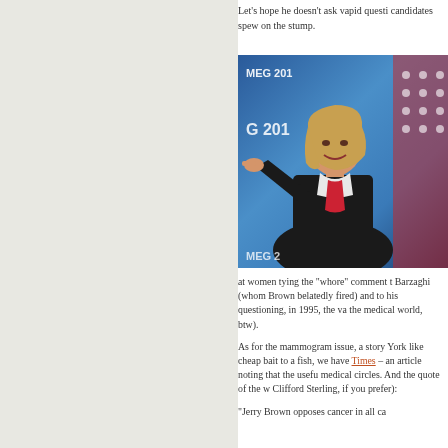Let’s hope he doesn’t ask vapid questions about the candidates spew on the stump.
[Figure (photo): Woman with blonde hair in black jacket pointing at camera at a political event with MEG 2010 banner and American flag in background]
at women tying the “whore” comment to Barzaghi (whom Brown belatedly fired) and to his questioning, in 1995, the va the medical world, btw).
As for the mammogram issue, a story York like cheap bait to a fish, we have Times – an article noting that the usefu medical circles. And the quote of the w Clifford Sterling, if you prefer):
“Jerry Brown opposes cancer in all ca